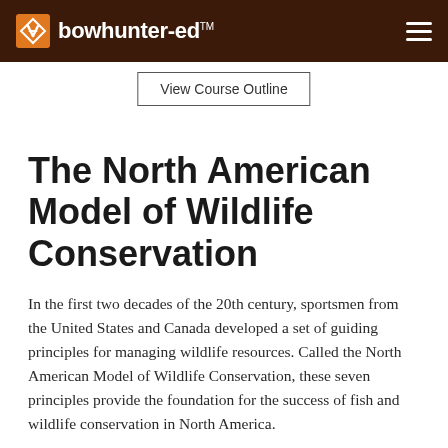bowhunter-ed™
View Course Outline
The North American Model of Wildlife Conservation
In the first two decades of the 20th century, sportsmen from the United States and Canada developed a set of guiding principles for managing wildlife resources. Called the North American Model of Wildlife Conservation, these seven principles provide the foundation for the success of fish and wildlife conservation in North America.
Fish and wildlife are public property. The